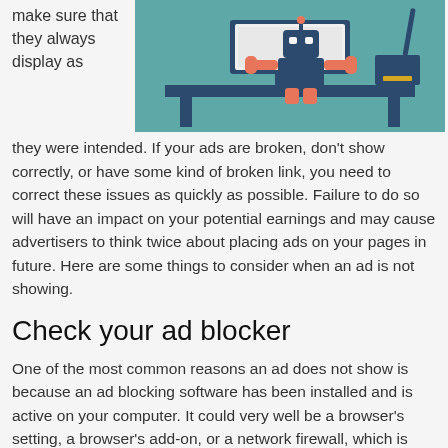make sure that they always display as
[Figure (illustration): Flat-style illustration of a robot or character sitting at a desk with a computer monitor, rendered in teal, dark navy, and coral/pink colors.]
they were intended. If your ads are broken, don't show correctly, or have some kind of broken link, you need to correct these issues as quickly as possible. Failure to do so will have an impact on your potential earnings and may cause advertisers to think twice about placing ads on your pages in future. Here are some things to consider when an ad is not showing.
Check your ad blocker
One of the most common reasons an ad does not show is because an ad blocking software has been installed and is active on your computer. It could very well be a browser's setting, a browser's add-on, or a network firewall, which is often the case on corporate computers. It's possible to change the setting for individual websites so that ads can be shown again.